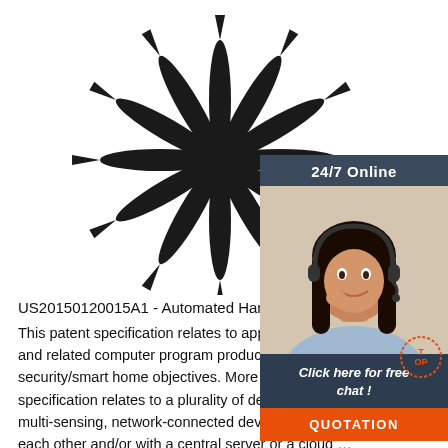[Figure (photo): Product photo of multiple black pointed/spike-shaped objects (likely stakes or pins) arranged in a sunburst/radial pattern on a white background]
24/7 Online
Click here for free chat !
QUOTATION
US20150120015A1 - Automated Handling Of A Pac...
This patent specification relates to apparatus, systems, methods, and related computer program products for providing home security/smart home objectives. More particularly, this patent specification relates to a plurality of devices, including intelligent multi-sensing, network-connected devices, that communicate with each other and/or with a central server or a cloud …